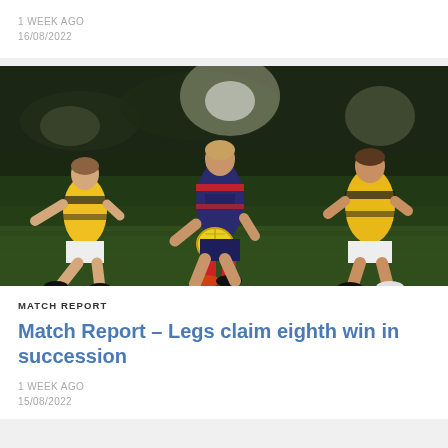1 WEEK AGO
16/08/2022
[Figure (photo): An Australian rules football action photo taken at night. A player in a dark navy/red guernsey (Legs team) carries a yellow football while two opponents in yellow and black guernseys (opposing team) close in. The match is played on grass under floodlights.]
MATCH REPORT
Match Report – Legs claim eighth win in succession
1 WEEK AGO
15/08/2022